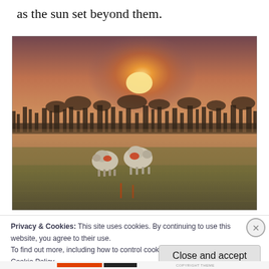as the sun set beyond them.
[Figure (photo): A sunset landscape photo showing two sheep (with red markings) in a green field, with the orange sun setting behind a line of bare trees in the background. The sky is hazy and warm-toned.]
Privacy & Cookies: This site uses cookies. By continuing to use this website, you agree to their use.
To find out more, including how to control cookies, see here:
Cookie Policy
Close and accept